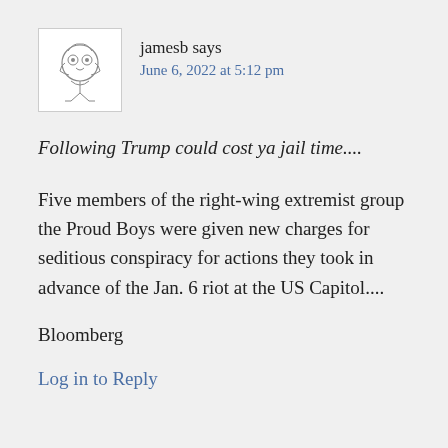jamesb says
June 6, 2022 at 5:12 pm
Following Trump could cost ya jail time....
Five members of the right-wing extremist group the Proud Boys were given new charges for seditious conspiracy for actions they took in advance of the Jan. 6 riot at the US Capitol....
Bloomberg
Log in to Reply